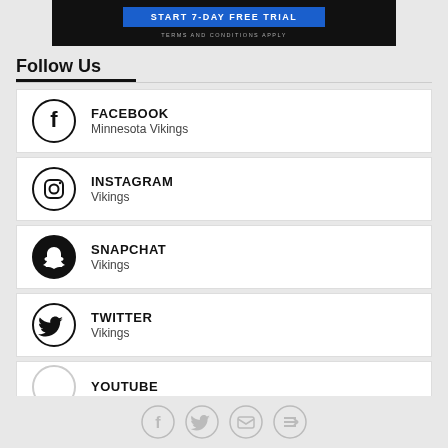[Figure (screenshot): Advertisement banner with blue 'START 7-DAY FREE TRIAL' button and 'TERMS AND CONDITIONS APPLY' text on dark background]
Follow Us
FACEBOOK - Minnesota Vikings
INSTAGRAM - Vikings
SNAPCHAT - Vikings
TWITTER - Vikings
YOUTUBE
[Figure (infographic): Bottom share bar with Facebook, Twitter, email, and link social icons]